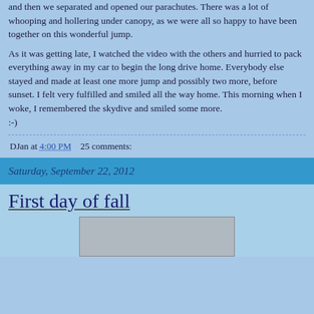and then we separated and opened our parachutes. There was a lot of whooping and hollering under canopy, as we were all so happy to have been together on this wonderful jump.
As it was getting late, I watched the video with the others and hurried to pack everything away in my car to begin the long drive home. Everybody else stayed and made at least one more jump and possibly two more, before sunset. I felt very fulfilled and smiled all the way home. This morning when I woke, I remembered the skydive and smiled some more.
:-)
DJan at 4:00 PM    25 comments:
Saturday, September 22, 2012
First day of fall
[Figure (photo): Photograph partially visible at bottom of page]